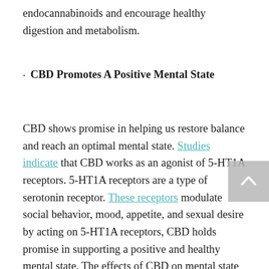endocannabinoids and encourage healthy digestion and metabolism.
· CBD Promotes A Positive Mental State
CBD shows promise in helping us restore balance and reach an optimal mental state. Studies indicate that CBD works as an agonist of 5-HT1A receptors. 5-HT1A receptors are a type of serotonin receptor. These receptors modulate social behavior, mood, appetite, and sexual desire by acting on 5-HT1A receptors, CBD holds promise in supporting a positive and healthy mental state. The effects of CBD on mental state operate in the background of your conscious awareness. They're